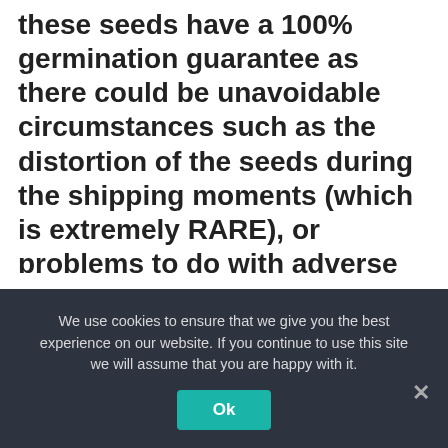these seeds have a 100% germination guarantee as there could be unavoidable circumstances such as the distortion of the seeds during the shipping moments (which is extremely RARE), or problems to do with adverse weather conditions that may end up (in)directly affecting your seeds.

Haze autoflower seeds will undeniably grow 100% if the bean reaches you the exact way we packed it and if you follow our recommended germination tips to the
We use cookies to ensure that we give you the best experience on our website. If you continue to use this site we will assume that you are happy with it.